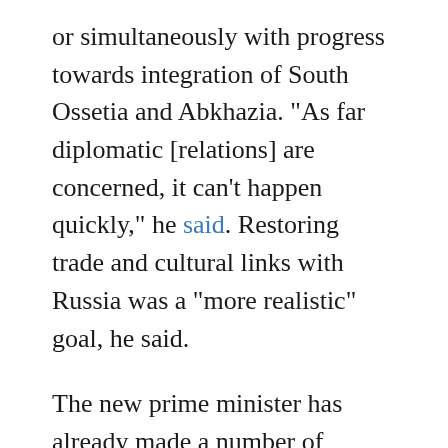or simultaneously with progress towards integration of South Ossetia and Abkhazia. "As far diplomatic [relations] are concerned, it can't happen quickly," he said. Restoring trade and cultural links with Russia was a "more realistic" goal, he said.
The new prime minister has already made a number of overtures towards Moscow, including a promise that Georgia should “definitely” compete in the 2014 Winter Olympics in Sochi, which Saakashvili has previously vowed to boycott. More importantly, in comments made on October 24, Ivanishvili has supported the findings of a 2009 report by the Independent